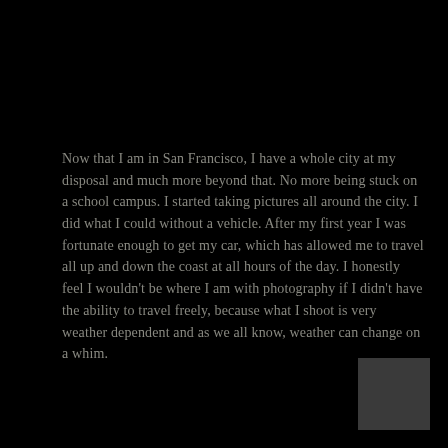Now that I am in San Francisco, I have a whole city at my disposal and much more beyond that. No more being stuck on a school campus. I started taking pictures all around the city. I did what I could without a vehicle. After my first year I was fortunate enough to get my car, which has allowed me to travel all up and down the coast at all hours of the day. I honestly feel I wouldn't be where I am with photography if I didn't have the ability to travel freely, because what I shoot is very weather dependent and as we all know, weather can change on a whim.
[Figure (other): Dark gray square block in lower-right corner of the page]